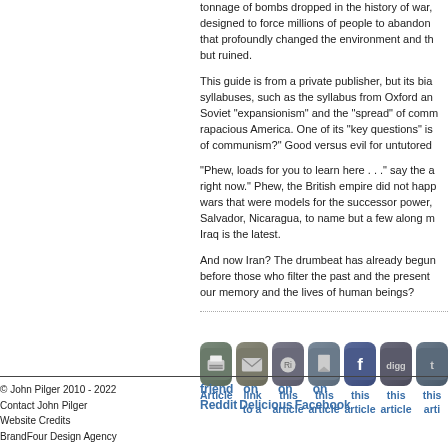tonnage of bombs dropped in the history of war, designed to force millions of people to abandon that profoundly changed the environment and th... but ruined.
This guide is from a private publisher, but its bias... syllabuses, such as the syllabus from Oxford an... Soviet "expansionism" and the "spread" of comm... rapacious America. One of its "key questions" is... of communism?" Good versus evil for untutored...
"Phew, loads for you to learn here . . ." say the a... right now." Phew, the British empire did not happ... wars that were models for the successor power,... Salvador, Nicaragua, to name but a few along m... Iraq is the latest.
And now Iran? The drumbeat has already begun... before those who filter the past and the present... our memory and the lives of human beings?
[Figure (infographic): Social sharing icons row: Print, Email, Reddit, Bookmark, Facebook, Digg, Twitter with labels below]
© John Pilger 2010 - 2022
Contact John Pilger
Website Credits
BrandFour Design Agency
friend on    on    on
Reddit Delicious Facebook